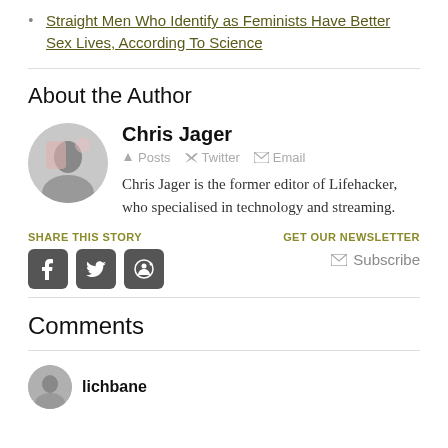Straight Men Who Identify as Feminists Have Better Sex Lives, According To Science
About the Author
[Figure (photo): Author profile photo of Chris Jager, circular avatar]
Chris Jager
Posts  Twitter  Email
Chris Jager is the former editor of Lifehacker, who specialised in technology and streaming.
SHARE THIS STORY
[Figure (infographic): Social share icons: Facebook, Twitter, Reddit]
GET OUR NEWSLETTER
Subscribe
Comments
[Figure (photo): Commenter avatar for lichbane]
lichbane